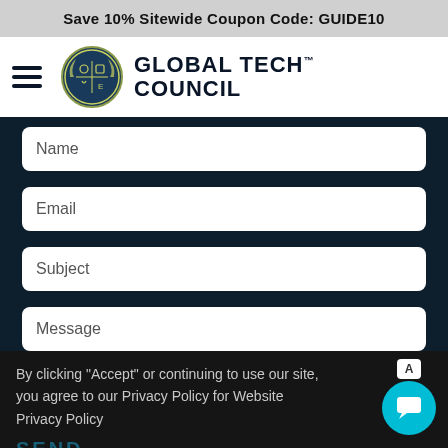Save 10% Sitewide Coupon Code: GUIDE10
[Figure (logo): Global Tech Council logo with shield emblem and text GLOBAL TECH COUNCIL]
Name
Email
Subject
Message
By clicking "Accept" or continuing to use our site, you agree to our Privacy Policy for Website Privacy Policy
SEND